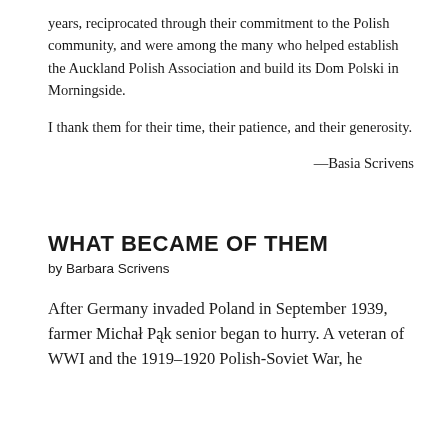years, reciprocated through their commitment to the Polish community, and were among the many who helped establish the Auckland Polish Association and build its Dom Polski in Morningside.
I thank them for their time, their patience, and their generosity.
—Basia Scrivens
WHAT BECAME OF THEM
by Barbara Scrivens
After Germany invaded Poland in September 1939, farmer Michał Pąk senior began to hurry. A veteran of WWI and the 1919–1920 Polish-Soviet War, he